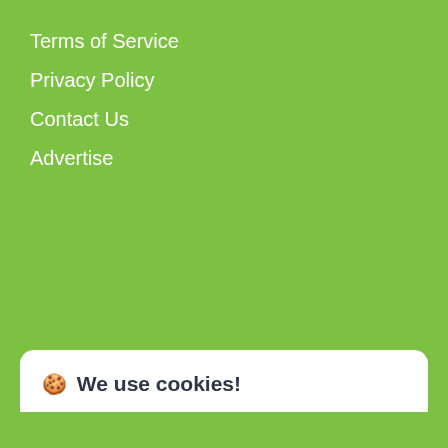Terms of Service
Privacy Policy
Contact Us
Advertise
About MEN AFN
🍪 We use cookies!
Hi, this website uses essential cookies to ensure its proper operation and tracking cookies to understand how you interact with it. The latter will be set only after consent. Let me choose
Accept all
Reject all